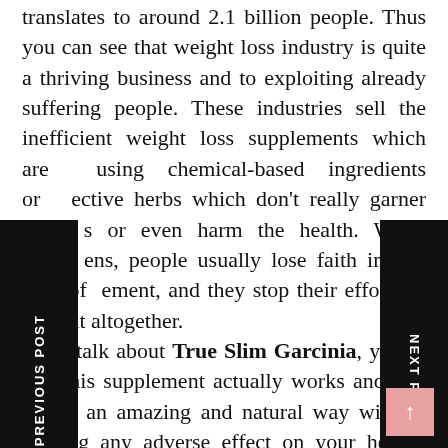translates to around 2.1 billion people. Thus you can see that weight loss industry is quite a thriving business and to exploiting already suffering people. These industries sell the inefficient weight loss supplements which are using chemical-based ingredients or ective herbs which don't really garner any s or even harm the health. When this ens, people usually lose faith in any kind of ement, and they stop their efforts to lose ht altogether. you talk about True Slim Garcinia, you e that this supplement actually works and that too in an amazing and natural way without causing any adverse effect on your health. This weight loss dietary supplement is made using one main ingredient – Garcinia Cambogia. This fruit has been used widely in numerous weight